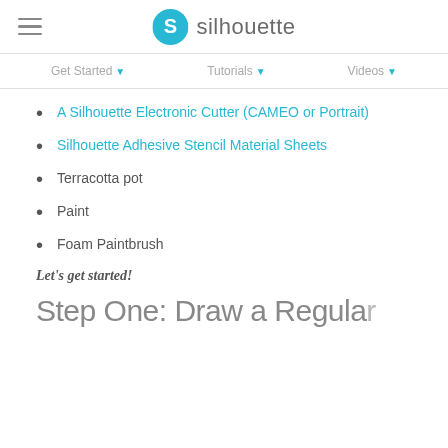silhouette
Get Started  Tutorials  Videos
A Silhouette Electronic Cutter (CAMEO or Portrait)
Silhouette Adhesive Stencil Material Sheets
Terracotta pot
Paint
Foam Paintbrush
Let's get started!
Step One: Draw a Regular